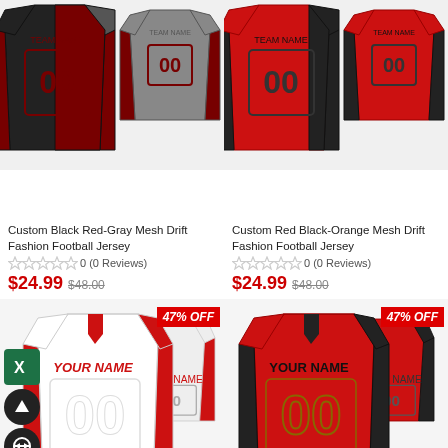[Figure (photo): Custom Black Red-Gray Mesh Drift Fashion Football Jersey product image (front and back view)]
[Figure (photo): Custom Red Black-Orange Mesh Drift Fashion Football Jersey product image (front and back view)]
Custom Black Red-Gray Mesh Drift Fashion Football Jersey
0 (0 Reviews)
$24.99 $48.00
Custom Red Black-Orange Mesh Drift Fashion Football Jersey
0 (0 Reviews)
$24.99 $48.00
[Figure (photo): White and red custom football jersey with YOUR NAME and 00, front and back, with 47% OFF badge]
[Figure (photo): Red and black custom football jersey with YOUR NAME and 00, front and back, with 47% OFF badge]